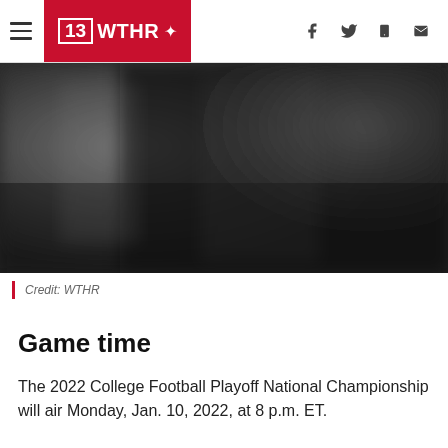13 WTHR
[Figure (photo): Blurred dark photograph, appears to be a nighttime or low-light sports/stadium scene]
Credit: WTHR
Game time
The 2022 College Football Playoff National Championship will air Monday, Jan. 10, 2022, at 8 p.m. ET.